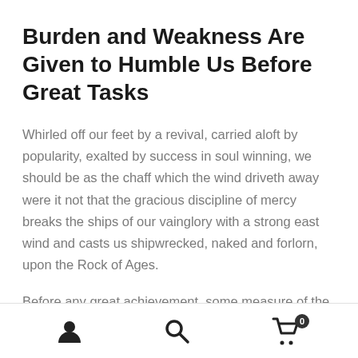Burden and Weakness Are Given to Humble Us Before Great Tasks
Whirled off our feet by a revival, carried aloft by popularity, exalted by success in soul winning, we should be as the chaff which the wind driveth away were it not that the gracious discipline of mercy breaks the ships of our vainglory with a strong east wind and casts us shipwrecked, naked and forlorn, upon the Rock of Ages.
Before any great achievement, some measure of the same depression is very usual. Surveying the difficulties before
[user icon] [search icon] [cart icon with badge 0]